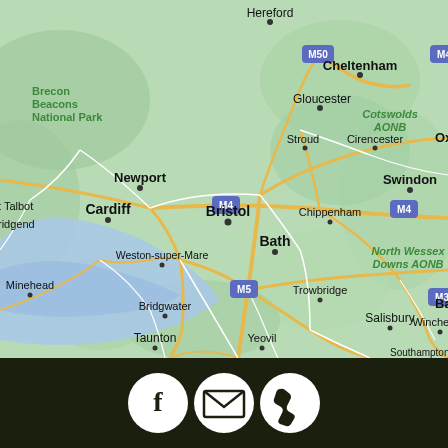[Figure (map): Google Maps view of South West England and South Wales showing cities including Bristol, Cardiff, Newport, Bath, Cheltenham, Gloucester, Swindon, Salisbury, Winchester, Taunton, Bridgwater, Weston-super-Mare, Trowbridge, Chippenham, Stroud, Cirencester, Hereford, Yeovil, Minehead, and areas including Brecon Beacons National Park, Cotswolds AONB, North Wessex Downs AONB. Motorways M4, M5, M50, M3 are marked. The Bristol Channel/Severn Estuary is visible in blue.]
[Figure (infographic): Dark footer bar with three white circular icon buttons: Facebook (f), Email (envelope), and Phone (handset)]